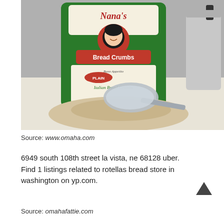[Figure (photo): A green bag of Nana's Bread Crumbs (Plain Italian Bread Crumbs, since 1921) with a metal scoop and pile of bread crumbs in the foreground, and a metal container in the background, on a white surface.]
Source: www.omaha.com
6949 south 108th street la vista, ne 68128 uber. Find 1 listings related to rotellas bread store in washington on yp.com.
Source: omahafattie.com